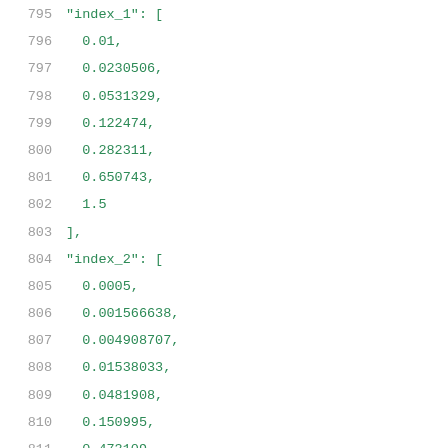795    "index_1": [
796      0.01,
797      0.0230506,
798      0.0531329,
799      0.122474,
800      0.282311,
801      0.650743,
802      1.5
803    ],
804    "index_2": [
805      0.0005,
806      0.001566638,
807      0.004908707,
808      0.01538033,
809      0.0481908,
810      0.150995,
811      0.473109
812    ],
813    "values": [
814      [
815        0.0526862,